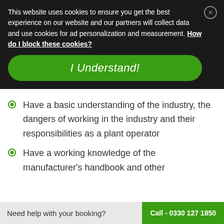This website uses cookies to ensure you get the best experience on our website and our partners will collect data and use cookies for ad personalization and measurement. How do I block these cookies?
I Understand!
Have a basic understanding of the industry, the dangers of working in the industry and their responsibilities as a plant operator
Have a working knowledge of the manufacturer's handbook and other
Need help with your booking?  Call - 0330 127 1850